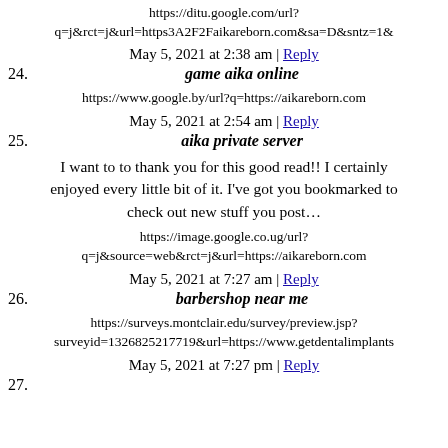https://ditu.google.com/url?q=j&rct=j&url=https3A2F2Faikareborn.com&sa=D&sntz=1&
May 5, 2021 at 2:38 am | Reply
24. game aika online
https://www.google.by/url?q=https://aikareborn.com
May 5, 2021 at 2:54 am | Reply
25. aika private server
I want to to thank you for this good read!! I certainly enjoyed every little bit of it. I've got you bookmarked to check out new stuff you post…
https://image.google.co.ug/url?q=j&source=web&rct=j&url=https://aikareborn.com
May 5, 2021 at 7:27 am | Reply
26. barbershop near me
https://surveys.montclair.edu/survey/preview.jsp?surveyid=1326825217719&url=https://www.getdentalimplants
May 5, 2021 at 7:27 pm | Reply
27.